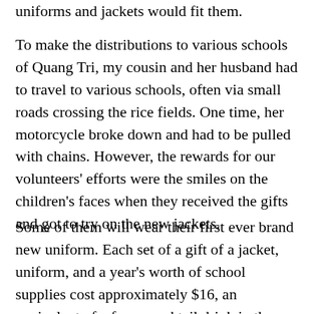uniforms and jackets would fit them.
To make the distributions to various schools of Quang Tri, my cousin and her husband had to travel to various schools, often via small roads crossing the rice fields. One time, her motorcycle broke down and had to be pulled with chains. However, the rewards for our volunteers' efforts were the smiles on the children's faces when they received the gifts and got to try on the new jackets.
Some of them will wear their first ever brand new uniform. Each set of a gift of a jacket, uniform, and a year's worth of school supplies cost approximately $16, an equivalent of a fancy cocktail drink in the U.S. However, this gift brings more valuable meaning to the...